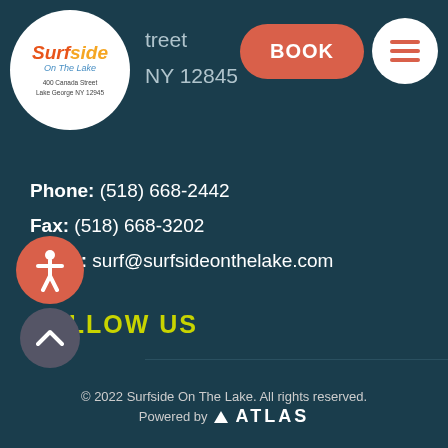[Figure (logo): Surfside On The Lake logo — circular white badge with colorful text 'Surfside On The Lake' and address '400 Canada Street, Lake George NY 12945']
Canada Street
NY 12845
[Figure (other): Orange rounded rectangle BOOK button and white circle menu hamburger button]
Phone: (518) 668-2442
Fax: (518) 668-3202
Email: surf@surfsideonthelake.com
FOLLOW US
[Figure (other): Red circle accessibility icon (person figure) and grey circle up-arrow button]
© 2022 Surfside On The Lake. All rights reserved.
Powered by  /\ ATLAS